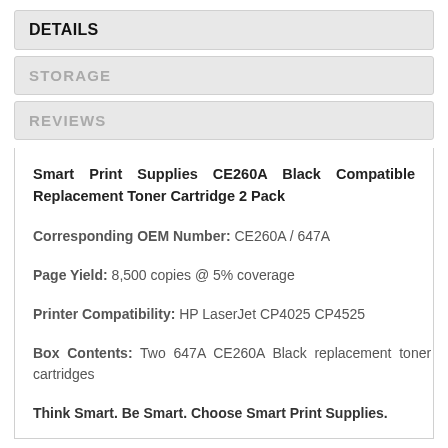DETAILS
STORAGE
REVIEWS
Smart Print Supplies CE260A Black Compatible Replacement Toner Cartridge 2 Pack
Corresponding OEM Number: CE260A / 647A
Page Yield: 8,500 copies @ 5% coverage
Printer Compatibility: HP LaserJet CP4025 CP4525
Box Contents: Two 647A CE260A Black replacement toner cartridges
Think Smart. Be Smart. Choose Smart Print Supplies.